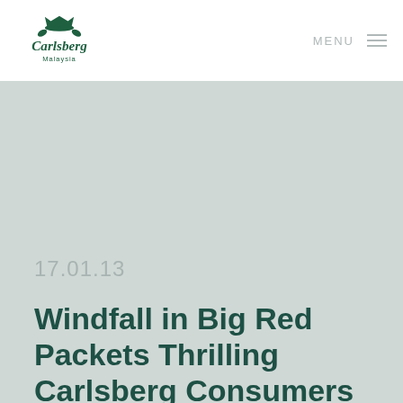[Figure (logo): Carlsberg Malaysia logo — green crown and hop-leaf icon above the stylized 'Carlsberg' wordmark with 'Malaysia' beneath]
MENU
17.01.13
Windfall in Big Red Packets Thrilling Carlsberg Consumers